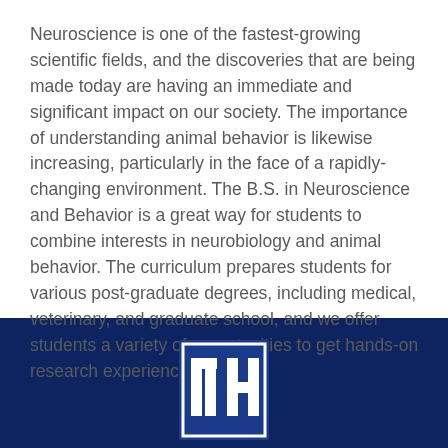Neuroscience is one of the fastest-growing scientific fields, and the discoveries that are being made today are having an immediate and significant impact on our society. The importance of understanding animal behavior is likewise increasing, particularly in the face of a rapidly-changing environment. The B.S. in Neuroscience and Behavior is a great way for students to combine interests in neurobiology and animal behavior. The curriculum prepares students for various post-graduate degrees, including medical, veterinary, and graduate school, and we offer students a variety of opportunities to get hands-on research experience.
[Figure (logo): University of New Hampshire NH logo — white block letters N and H inside a blue bordered rectangle on a dark navy background]